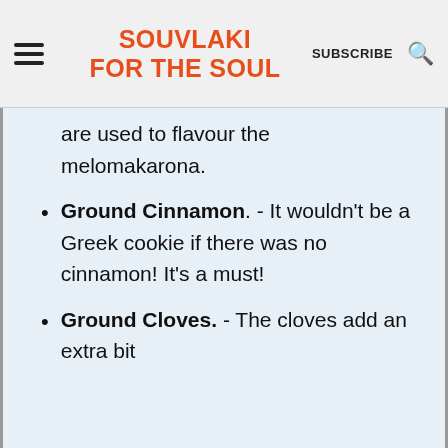SOUVLAKI FOR THE SOUL | SUBSCRIBE | Search
are used to flavour the melomakarona.
Ground Cinnamon. - It wouldn't be a Greek cookie if there was no cinnamon! It's a must!
Ground Cloves. - The cloves add an extra bit